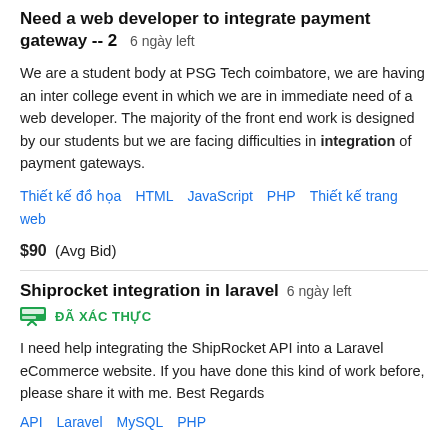Need a web developer to integrate payment gateway -- 2  6 ngày left
We are a student body at PSG Tech coimbatore, we are having an inter college event in which we are in immediate need of a web developer. The majority of the front end work is designed by our students but we are facing difficulties in integration of payment gateways.
Thiết kế đồ họa   HTML   JavaScript   PHP   Thiết kế trang web
$90  (Avg Bid)
Shiprocket integration in laravel  6 ngày left
ĐÃ XÁC THỰC
I need help integrating the ShipRocket API into a Laravel eCommerce website. If you have done this kind of work before, please share it with me. Best Regards
API   Laravel   MySQL   PHP